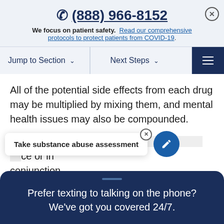☎ (888) 966-8152
We focus on patient safety. Read our comprehensive protocols to protect patients from COVID-19.
Jump to Section ∨
Next Steps ∨
All of the potential side effects from each drug may be multiplied by mixing them, and mental health issues may also be compounded.
When a large amount of cocaine is taken at once or in conjunction with overdose or other negative health consequences
Take substance abuse assessment
Prefer texting to talking on the phone? We've got you covered 24/7.